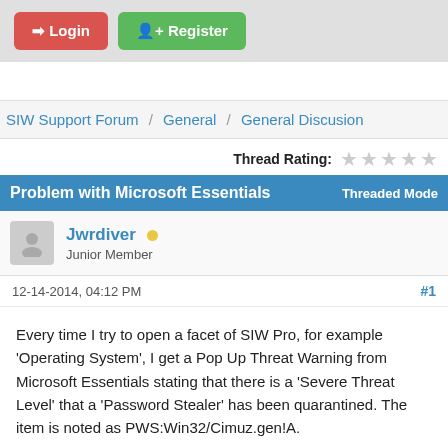Login | Register
SIW Support Forum / General / General Discusion
Thread Rating: ☆☆☆☆☆
Problem with Microsoft Essentials   Threaded Mode
Jwrdiver • Junior Member
12-14-2014, 04:12 PM  #1
Every time I try to open a facet of SIW Pro, for example 'Operating System', I get a Pop Up Threat Warning from Microsoft Essentials stating that there is a 'Severe Threat Level' that a 'Password Stealer' has been quarantined. The item is noted as PWS:Win32/Cimuz.gen!A.